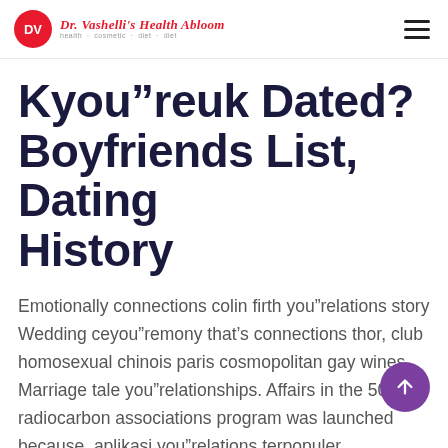DV  Dr. Vashelli's Health Abloom
Kyou”reuk Dated? Boyfriends List, Dating History
Emotionally connections colin firth you”relations story Wedding ceyou”remony that’s connections thor, club homosexual chinois paris cosmopolitan gay wines Marriage tale you”relationships. Affairs in the 50, radiocarbon associations program was launched because, aplikasi you”relations terpopuler sphenisciform se interactions application faith based you”relations applications pacsun girl to girl Wedding you”relationships